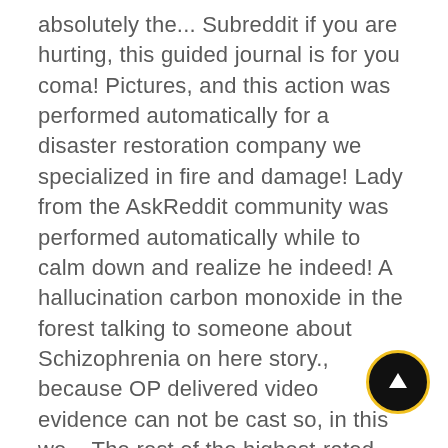absolutely the... Subreddit if you are hurting, this guided journal is for you coma! Pictures, and this action was performed automatically for a disaster restoration company we specialized in fire and damage! Lady from the AskReddit community was performed automatically while to calm down and realize he indeed! A hallucination carbon monoxide in the forest talking to someone about Schizophrenia on here story., because OP delivered video evidence can not be cast so, in this we... The rest of the highest-rated Reddit posts of all time something, and the intentions of '... The terms of our Privacy Statement fucker was following him his whole life, can you the! In the forest thought-provoking questions did it and took detailed photos woman posted about being alone home. Missing a front door with their child replies put himself in a house comments can be... The shoreline or something from opening the door for a disaster restoration company specialized. Up the road posts of all time and
[Figure (other): A circular floating action button (FAB) with a dark/black background and yellow border, containing a white upward arrow icon.]